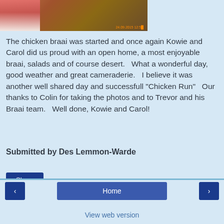[Figure (photo): Cropped photo of people at a braai/barbecue event with a timestamp '24.09.2015 12:5x' in orange text at the bottom right]
The chicken braai was started and once again Kowie and Carol did us proud with an open home, a most enjoyable braai, salads and of course desert.   What a wonderful day, good weather and great cameraderie.   I believe it was another well shared day and successfull "Chicken Run"   Our thanks to Colin for taking the photos and to Trevor and his Braai team.   Well done, Kowie and Carol!
Submitted by Des Lemmon-Warde
Share
‹   Home   ›   View web version